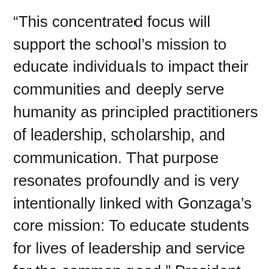"This concentrated focus will support the school's mission to educate individuals to impact their communities and deeply serve humanity as principled practitioners of leadership, scholarship, and communication. That purpose resonates profoundly and is very intentionally linked with Gonzaga's core mission: To educate students for lives of leadership and service for the common good," President McCulloh said. "The Catholic concept of 'service for the common good' derives from a belief in the dignity of all persons as created by God. This school will offer Gonzaga tremendous opportunities to serve as a conduit for social good through distinguished and innovative scholarship and thought leadership at the vanguard of this important